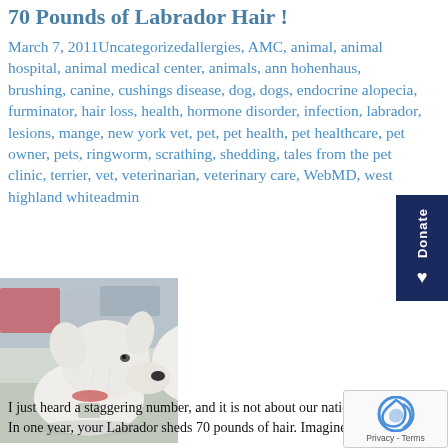70 Pounds of Labrador Hair !
March 7, 2011Uncategorizedallergies, AMC, animal, animal hospital, animal medical center, animals, ann hohenhaus, brushing, canine, cushings disease, dog, dogs, endocrine alopecia, furminator, hair loss, health, hormone disorder, infection, labrador, lesions, mange, new york vet, pet, pet health, pet healthcare, pet owner, pets, ringworm, scrathing, shedding, tales from the pet clinic, terrier, vet, veterinarian, veterinary care, WebMD, west highland whiteadmin
[Figure (photo): A white fluffy dog (West Highland White Terrier) sitting in what appears to be a veterinary clinic or animal hospital, looking to the right.]
I just heard a staggering number, and it is not about our natio... In one year, your Labrador sheds 70 pounds of hair. Imagine what that